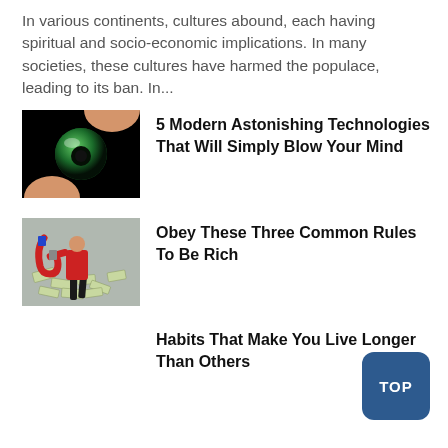In various continents, cultures abound, each having spiritual and socio-economic implications. In many societies, these cultures have harmed the populace, leading to its ban. In...
[Figure (photo): Close-up of fingers holding a small green glass marble/ball against a black background]
5 Modern Astonishing Technologies That Will Simply Blow Your Mind
[Figure (photo): Person in red jacket using a large horseshoe magnet to attract scattered paper money/bills]
Obey These Three Common Rules To Be Rich
Habits That Make You Live Longer Than Others